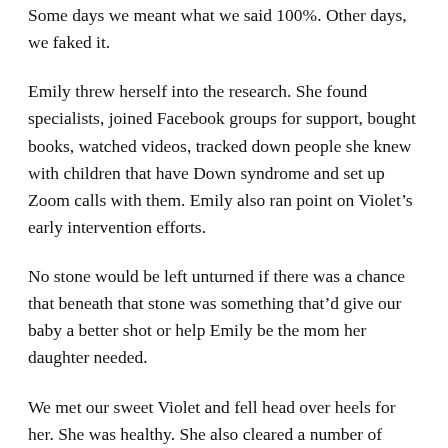Some days we meant what we said 100%. Other days, we faked it.
Emily threw herself into the research. She found specialists, joined Facebook groups for support, bought books, watched videos, tracked down people she knew with children that have Down syndrome and set up Zoom calls with them. Emily also ran point on Violet’s early intervention efforts.
No stone would be left unturned if there was a chance that beneath that stone was something that’d give our baby a better shot or help Emily be the mom her daughter needed.
We met our sweet Violet and fell head over heels for her. She was healthy. She also cleared a number of hurdles that’d worried us from the beginning. She has an atrial septal defect (a hole in the wall separating the two upper chambers of the heart) but it’s small and the specialists say it needs only to be monitored at bi-annual checks. If it does get larger, Violet’s a